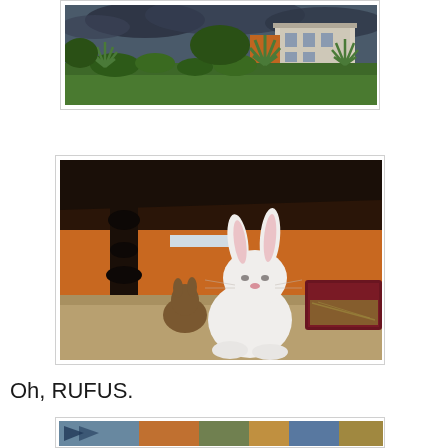[Figure (photo): Outdoor garden scene with green lawn, shrubs, agave plants, and a white building in the background under a dramatic sky.]
[Figure (photo): A large white rabbit sitting upright under a dark wooden table, with a smaller brown rabbit behind it. Orange walls and a red container visible in background.]
Oh, RUFUS.
[Figure (photo): Partial view of a third photo at the bottom edge of the page, colorful scene partially visible.]